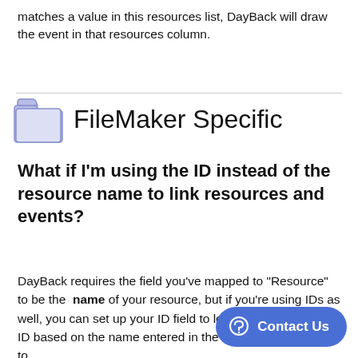matches a value in this resources list, DayBack will draw the event in that resources column.
FileMaker Specific
What if I'm using the ID instead of the resource name to link resources and events?
DayBack requires the field you've mapped to "Resource" to be the name of your resource, but if you're using IDs as well, you can set up your ID field to lookup the resource's ID based on the name entered in the field you've mapped to